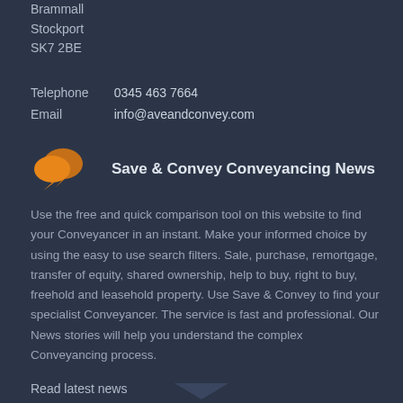Brammall
Stockport
SK7 2BE
Telephone   0345 463 7664
Email   info@aveandconvey.com
Save & Convey Conveyancing News
Use the free and quick comparison tool on this website to find your Conveyancer in an instant. Make your informed choice by using the easy to use search filters. Sale, purchase, remortgage, transfer of equity, shared ownership, help to buy, right to buy, freehold and leasehold property. Use Save & Convey to find your specialist Conveyancer. The service is fast and professional. Our News stories will help you understand the complex Conveyancing process.
Read latest news